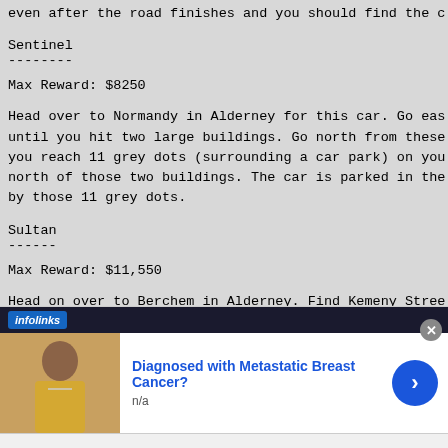even after the road finishes and you should find the c
Sentinel
--------
Max Reward: $8250
Head over to Normandy in Alderney for this car. Go eas until you hit two large buildings. Go north from these you reach 11 grey dots (surrounding a car park) on you north of those two buildings. The car is parked in the by those 11 grey dots.
Sultan
------
Max Reward: $11,550
Head on over to Berchem in Alderney. Find Kemeny Stree cafe in Alderney. Continue up Kemeny Street northwest, stops, keep going and you should find a driveway. Up t
[Figure (infographic): Infolinks advertisement banner with headline 'Diagnosed with Metastatic Breast Cancer?' with image of a woman and a blue arrow CTA button]